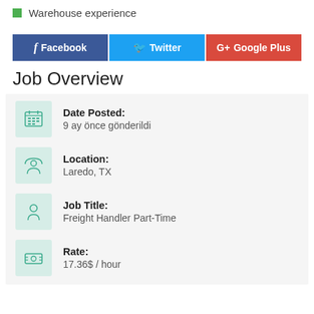Warehouse experience
[Figure (infographic): Social share buttons: Facebook (blue), Twitter (light blue), Google Plus (red)]
Job Overview
| Date Posted: | 9 ay önce gönderildi |
| Location: | Laredo, TX |
| Job Title: | Freight Handler Part-Time |
| Rate: | 17.36$ / hour |